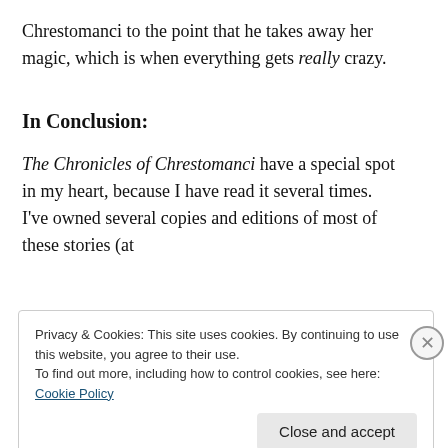Chrestomanci to the point that he takes away her magic, which is when everything gets really crazy.
In Conclusion:
The Chronicles of Chrestomanci have a special spot in my heart, because I have read it several times. I've owned several copies and editions of most of these stories (at
Privacy & Cookies: This site uses cookies. By continuing to use this website, you agree to their use.
To find out more, including how to control cookies, see here: Cookie Policy